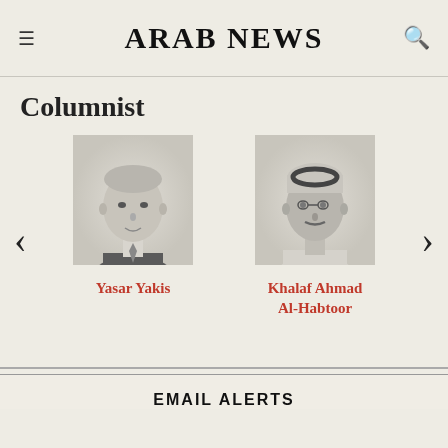ARAB NEWS
Columnist
[Figure (photo): Carousel of columnist portrait photos: Yasar Yakis (older man in suit, grayscale) and Khalaf Ahmad Al-Habtoor (man wearing traditional Gulf attire with glasses, grayscale), with left and right navigation arrows.]
Yasar Yakis
Khalaf Ahmad Al-Habtoor
EMAIL ALERTS